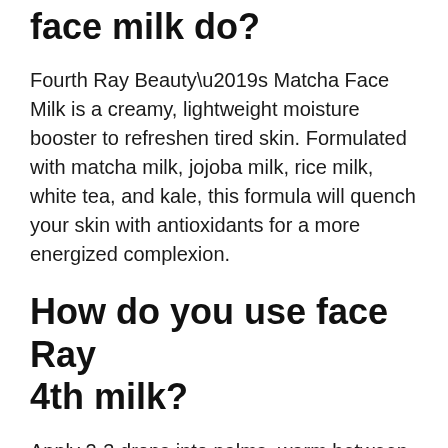face milk do?
Fourth Ray Beauty’s Matcha Face Milk is a creamy, lightweight moisture booster to refreshen tired skin. Formulated with matcha milk, jojoba milk, rice milk, white tea, and kale, this formula will quench your skin with antioxidants for a more energized complexion.
How do you use face Ray 4th milk?
Apply 2-3 drops into palms, warm between hands, & gently press into skin. Use as needed. Known to energize skin with a blend of phytonutrients including caffeine, vitamins, and minerals. Supports and...